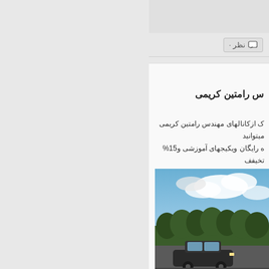نظر
س رامتین کریمی
ک ازکانالهای مهندس رامتین کریمی میتوانید
ه رایگان ویکیجهای آموزشی و15% تخیفف
[Figure (photo): A car driving on a road with trees and a cloudy sky in the background]